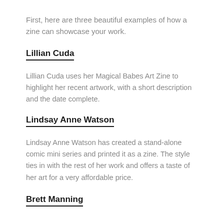First, here are three beautiful examples of how a zine can showcase your work.
Lillian Cuda
Lillian Cuda uses her Magical Babes Art Zine to highlight her recent artwork, with a short description and the date complete.
Lindsay Anne Watson
Lindsay Anne Watson has created a stand-alone comic mini series and printed it as a zine. The style ties in with the rest of her work and offers a taste of her art for a very affordable price.
Brett Manning